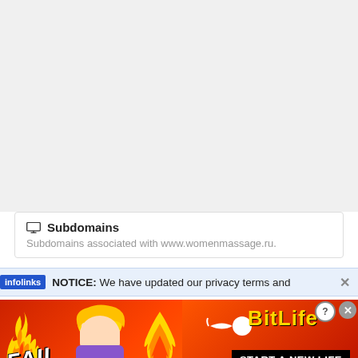[Figure (screenshot): White/light grey blank area at the top of the page, representing a webpage background]
🖥 Subdomains
Subdomains associated with www.womenmassage.ru.
NOTICE: We have updated our privacy terms and
[Figure (photo): BitLife advertisement banner with red/fire background, FAIL text, facepalm emoji, flame emoji, sperm icon, BitLife logo in yellow, and START A NEW LIFE black box text]